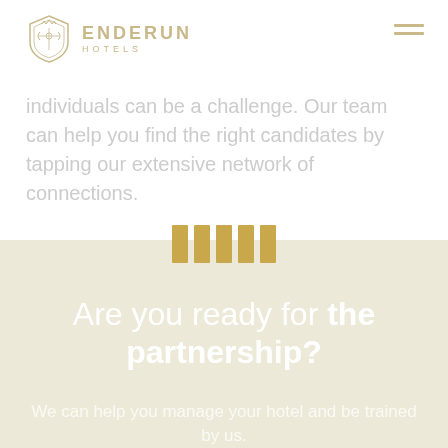ENDERUN HOTELS
individuals can be a challenge. Our team can help you find the right candidates by tapping our extensive network of connections.
[Figure (illustration): Five vertical gold bars used as a decorative divider element]
Are you ready for the partnership?
We can help you manage your hotel and be trained by us.